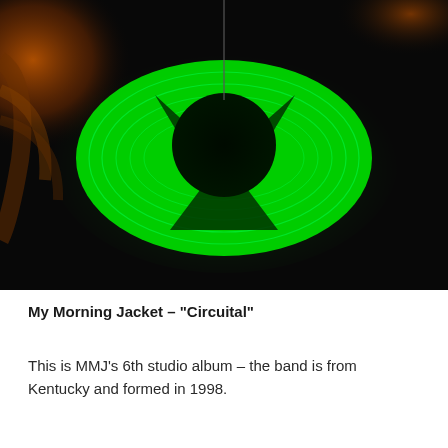[Figure (photo): A close-up photo of a glowing green eye-shaped light object on a dark background, with orange/amber tones on the sides. The green glowing shape resembles a stylized eye with a dark circular center and radiating concentric green lines.]
My Morning Jacket – "Circuital"
This is MMJ's 6th studio album – the band is from Kentucky and formed in 1998.